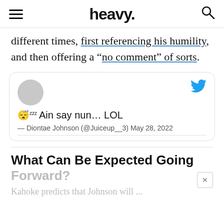heavy.
different times, first referencing his humility, and then offering a “no comment” of sorts.
[Figure (screenshot): Embedded tweet card from Diontae Johnson (@Juiceup__3) dated May 28, 2022, reading: 😴ᴢᴢ Ain say nun... LOL]
What Can Be Expected Going Forward?
Kahoke predicts that Johnson will ...